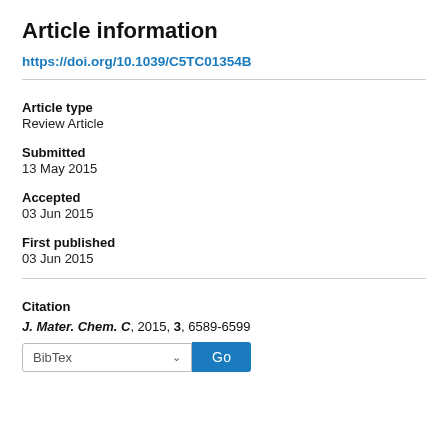Article information
https://doi.org/10.1039/C5TC01354B
Article type
Review Article
Submitted
13 May 2015
Accepted
03 Jun 2015
First published
03 Jun 2015
Citation
J. Mater. Chem. C, 2015, 3, 6589-6599
BibTex  Go